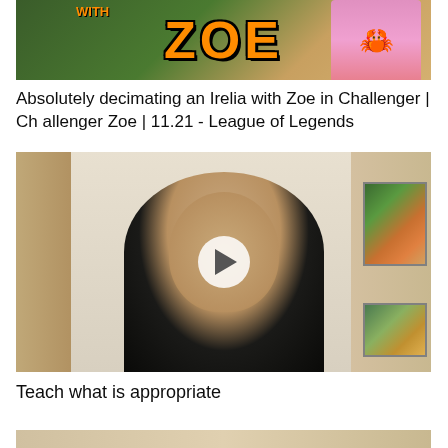[Figure (screenshot): Video thumbnail with orange ZOE text overlay on gaming artwork background with anime-style character]
Absolutely decimating an Irelia with Zoe in Challenger | Challenger Zoe | 11.21 - League of Legends
[Figure (screenshot): Video thumbnail showing a man with a mustache in a dark jacket standing in front of a door, with a play button overlay]
Teach what is appropriate
[Figure (screenshot): Partial view of another video thumbnail at the bottom of the page]